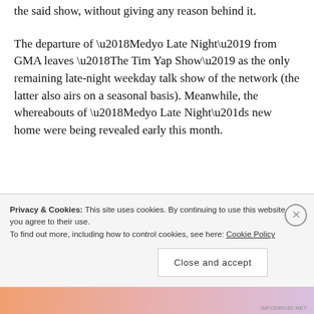the said show, without giving any reason behind it.
The departure of ‘Medyo Late Night’ from GMA leaves ‘The Tim Yap Show’ as the only remaining late-night weekday talk show of the network (the latter also airs on a seasonal basis). Meanwhile, the whereabouts of ‘Medyo Late Night”s new home were being revealed early this month.
Privacy & Cookies: This site uses cookies. By continuing to use this website, you agree to their use.
To find out more, including how to control cookies, see here: Cookie Policy
Close and accept